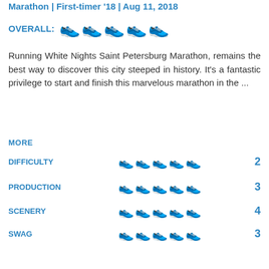Marathon | First-timer '18 | Aug 11, 2018
OVERALL: [3 out of 5 shoe rating]
Running White Nights Saint Petersburg Marathon, remains the best way to discover this city steeped in history. It's a fantastic privilege to start and finish this marvelous marathon in the ...
MORE
DIFFICULTY: 2, PRODUCTION: 3, SCENERY: 4, SWAG: 3
MY MEDIA
1 member marked this review helpful. Agree? YES!
Cracovia Marathon
Marathon in the City of kings of Poland
Marathon | First-timer '18 | Apr 29, 2018